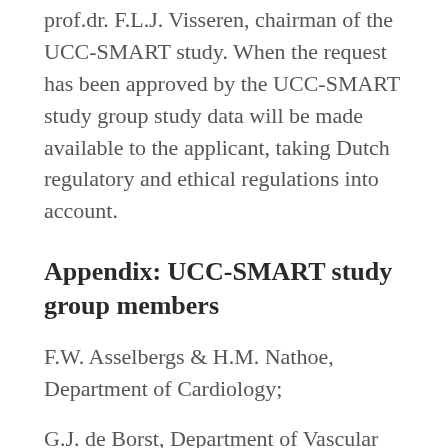prof.dr. F.L.J. Visseren, chairman of the UCC-SMART study. When the request has been approved by the UCC-SMART study group study data will be made available to the applicant, taking Dutch regulatory and ethical regulations into account.
Appendix: UCC-SMART study group members
F.W. Asselbergs & H.M. Nathoe, Department of Cardiology;
G.J. de Borst, Department of Vascular Surgery;
M.L. Bots and M.I. Geerlings, Julius Center for Health Sciences and Primary Care;